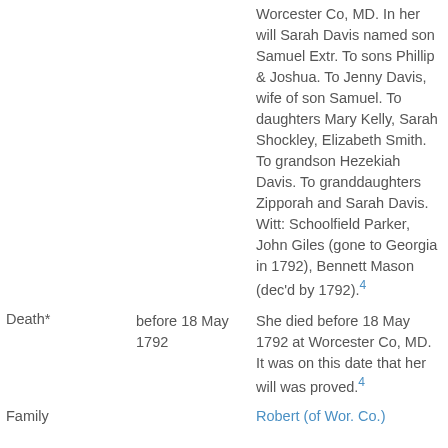Worcester Co, MD. In her will Sarah Davis named son Samuel Extr. To sons Phillip & Joshua. To Jenny Davis, wife of son Samuel. To daughters Mary Kelly, Sarah Shockley, Elizabeth Smith. To grandson Hezekiah Davis. To granddaughters Zipporah and Sarah Davis. Witt: Schoolfield Parker, John Giles (gone to Georgia in 1792), Bennett Mason (dec'd by 1792).4
Death*	before 18 May 1792	She died before 18 May 1792 at Worcester Co, MD. It was on this date that her will was proved.4
Family